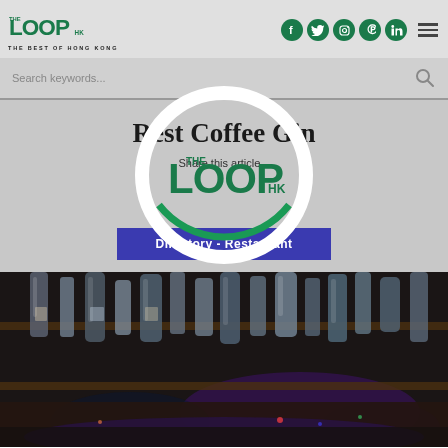THE LOOP HK — THE BEST OF HONG KONG
Search keywords...
Rest Coffee Gin
Share this article...
[Figure (logo): The Loop HK watermark logo circle overlay in center of page]
Directory - Restaurant
[Figure (photo): Dark atmospheric photo of bar shelves with hanging gin bottles and city lights in background]